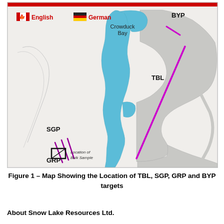[Figure (map): Map showing the location of TBL, SGP, GRP and BYP mineral targets near Crowduck Bay. The map shows a lake (Crowduck Bay) in light blue running north-south, with grey landmass features to the right. Magenta/pink lines indicate mineral targets: TBL (central-right area), BYP (upper right), SGP (left middle), GRP (lower left). A small rectangle labeled 'Location of Bulk Sample' is shown in the lower left area. Language toggle buttons (English with Canadian flag, German with German flag) appear at top left.]
Figure 1 – Map Showing the Location of TBL, SGP, GRP and BYP targets
About Snow Lake Resources Ltd.